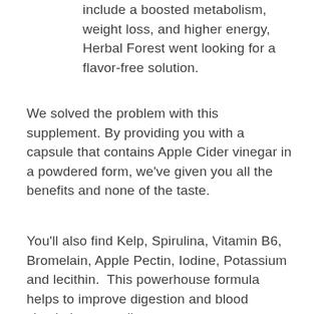include a boosted metabolism, weight loss, and higher energy,  Herbal Forest went looking for a flavor-free solution.
We solved the problem with this supplement. By providing you with a capsule that contains Apple Cider vinegar in a powdered form, we've given you all the benefits and none of the taste.
You'll also find Kelp, Spirulina, Vitamin B6, Bromelain, Apple Pectin, Iodine, Potassium and lecithin.  This powerhouse formula helps to improve digestion and blood circulation as well